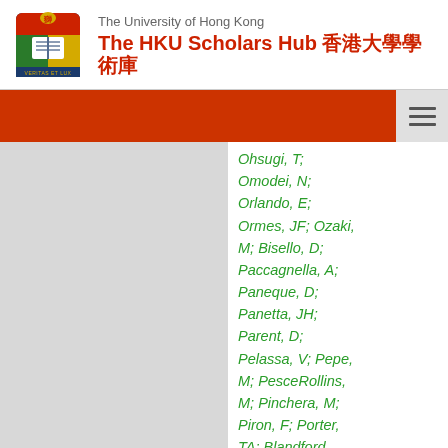The University of Hong Kong — The HKU Scholars Hub 香港大學學術庫
Ohsugi, T; Omodei, N; Orlando, E; Ormes, JF; Ozaki, M; Bisello, D; Paccagnella, A; Paneque, D; Panetta, JH; Parent, D; Pelassa, V; Pepe, M; PesceRollins, M; Pinchera, M; Piron, F; Porter, TA; Blandford, RD; Poupard, L; Rainò, S; Rando, R; Ray, PS; Razzano, M;